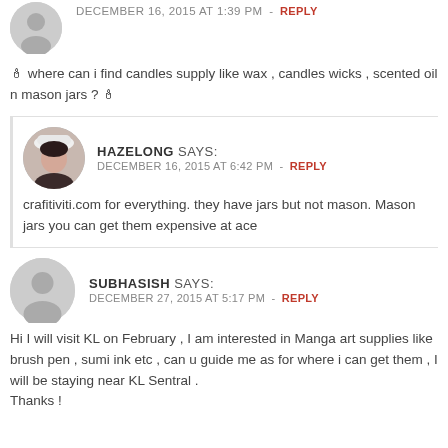[Figure (illustration): Gray circular avatar with silhouette person icon]
DECEMBER 16, 2015 AT 1:39 PM - REPLY
🕯 where can i find candles supply like wax , candles wicks , scented oil n mason jars ? 🕯
[Figure (photo): Circular avatar photo of a person wearing a white hat]
HAZELONG SAYS:
DECEMBER 16, 2015 AT 6:42 PM - REPLY
crafitiviti.com for everything. they have jars but not mason. Mason jars you can get them expensive at ace
[Figure (illustration): Gray circular avatar with silhouette person icon]
SUBHASISH SAYS:
DECEMBER 27, 2015 AT 5:17 PM - REPLY
Hi I will visit KL on February , I am interested in Manga art supplies like brush pen , sumi ink etc , can u guide me as for where i can get them , I will be staying near KL Sentral .
Thanks !